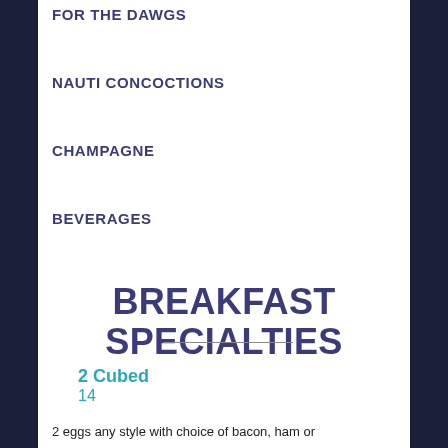FOR THE DAWGS
NAUTI CONCOCTIONS
CHAMPAGNE
BEVERAGES
BREAKFAST SPECIALTIES
2 Cubed
14
2 eggs any style with choice of bacon, ham or
2 eggs any style with choice of bacon, ham or